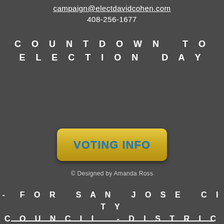campaign@electdavidcohen.com
408-256-1677
COUNTDOWN TO ELECTION DAY
[Figure (other): Yellow gradient button with blue text reading VOTING INFO]
© Designed by Amanda Ross
- FOR SAN JOSE CITY COUNCIL -DISTRICT 4